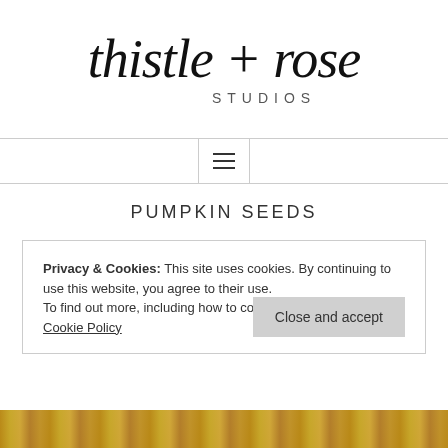[Figure (logo): Thistle + Rose Studios logo in script/cursive handwriting style with 'STUDIOS' in small caps below]
Navigation menu toggle button (hamburger icon)
PUMPKIN SEEDS
Privacy & Cookies: This site uses cookies. By continuing to use this website, you agree to their use.
To find out more, including how to control cookies, see here: Cookie Policy
Close and accept
[Figure (photo): Partial view of a food photograph, appears to show pumpkin seeds or similar golden/amber colored food items]